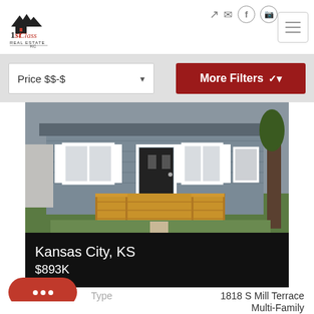[Figure (logo): 1st Class Real Estate KC logo with house silhouette icon]
Price $$-$
More Filters
[Figure (photo): Front exterior of a single-story gray house with white shutters, white front door, and a wooden deck/porch, surrounded by green lawn]
Kansas City, KS
$893K
1818 S Mill Terrace
Type
Multi-Family